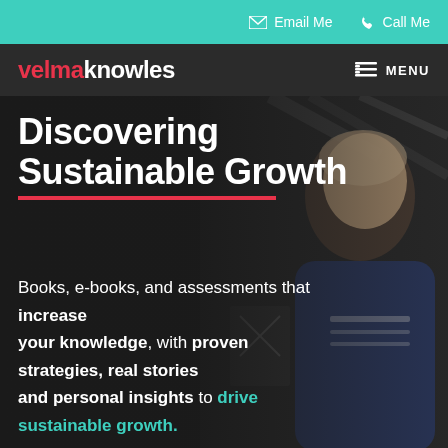Email Me   Call Me
velmaknowles   MENU
Discovering Sustainable Growth
Books, e-books, and assessments that increase your knowledge, with proven strategies, real stories and personal insights to drive sustainable growth.